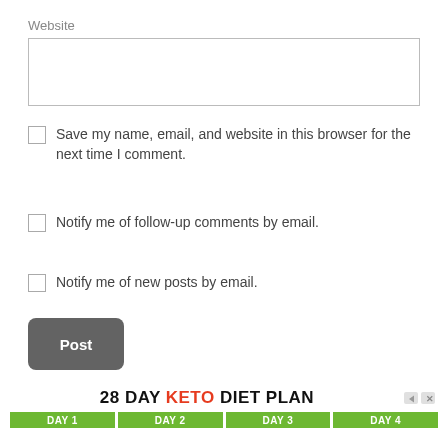Website
Save my name, email, and website in this browser for the next time I comment.
Notify me of follow-up comments by email.
Notify me of new posts by email.
Post
[Figure (infographic): 28 DAY KETO DIET PLAN advertisement banner with DAY 1, DAY 2, DAY 3, DAY 4 green boxes]